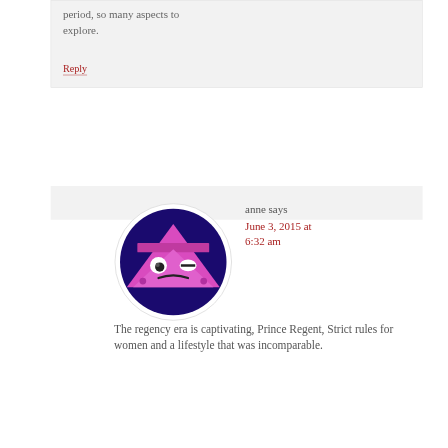period, so many aspects to explore.
Reply
[Figure (illustration): Cartoon avatar: circular white border, dark purple/navy circle background, pink downward-pointing triangle shape with cartoon sad face (eyes, frown)]
anne says
June 3, 2015 at 6:32 am
The regency era is captivating, Prince Regent, Strict rules for women and a lifestyle that was incomparable.